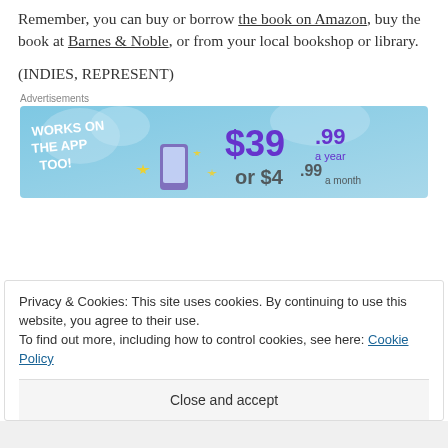Remember, you can buy or borrow the book on Amazon, buy the book at Barnes & Noble, or from your local bookshop or library.
(INDIES, REPRESENT)
Advertisements
[Figure (infographic): Advertisement banner with blue background showing 'WORKS ON THE APP TOO!' in white bold text on left and '$39.99 a year or $4.99 a month' in purple text on right with star decorations]
Privacy & Cookies: This site uses cookies. By continuing to use this website, you agree to their use.
To find out more, including how to control cookies, see here: Cookie Policy
Close and accept